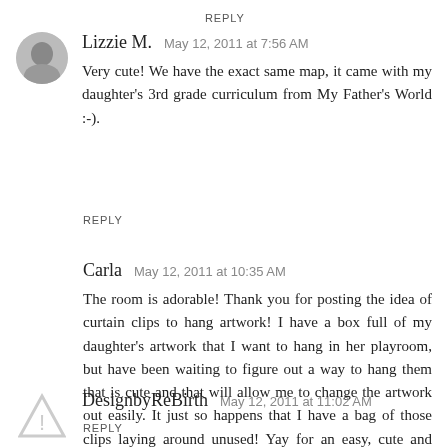REPLY
Lizzie M.  May 12, 2011 at 7:56 AM
Very cute! We have the exact same map, it came with my daughter's 3rd grade curriculum from My Father's World :-).
REPLY
Carla  May 12, 2011 at 10:35 AM
The room is adorable! Thank you for posting the idea of curtain clips to hang artwork! I have a box full of my daughter's artwork that I want to hang in her playroom, but have been waiting to figure out a way to hang them that is cute and that will allow me to change the artwork out easily. It just so happens that I have a bag of those clips laying around unused! Yay for an easy, cute and FREE project!
REPLY
DesignbyReBirth  May 12, 2011 at 11:02 AM